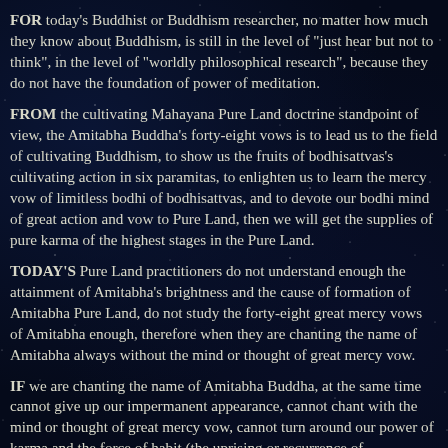FOR today's Buddhist or Buddhism researcher, no matter how much they know about Buddhism, is still in the level of “just hear but not to think”, in the level of “worldly philosophical research”, because they do not have the foundation of power of meditation.
FROM the cultivating Mahayana Pure Land doctrine standpoint of view, the Amitabha Buddha’s forty-eight vows is to lead us to the field of cultivating Buddhism, to show us the fruits of bodhisattvas’s cultivating action in six paramitas, to enlighten us to learn the mercy vow of limitless bodhi of bodhisattvas, and to devote our bodhi mind of great action and vow to Pure Land, then we will get the supplies of pure karma of the highest stages in the Pure Land.
TODAY’S Pure Land practitioners do not understand enough the attainment of Amitabha’s brightness and the cause of formation of Amitabha Pure Land, do not study the forty-eight great mercy vows of Amitabha enough, therefore when they are chanting the name of Amitabha always without the mind or thought of great mercy vow.
IF we are chanting the name of Amitabha Buddha, at the same time cannot give up our impermanent appearance, cannot chant with the mind or thought of great mercy vow, cannot turn around our power of karma and the force of habit (the uprising or recurrence of